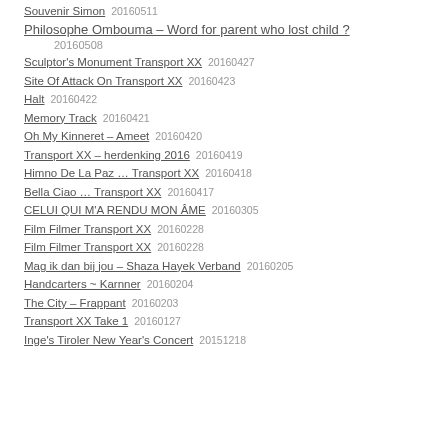Souvenir Simon   20160511
Philosophe Ombouma – Word for parent who lost child ?   20160508
Sculptor's Monument Transport XX   20160427
Site Of Attack On Transport XX   20160423
Halt   20160422
Memory Track   20160421
Oh My Kinneret – Ameet   20160420
Transport XX – herdenking 2016   20160419
Himno De La Paz … Transport XX   20160418
Bella Ciao … Transport XX   20160417
CELUI QUI M'A RENDU MON ÂME   20160305
Film Filmer Transport XX   20160228
Film Filmer Transport XX   20160228
Mag ik dan bij jou – Shaza Hayek Verband   20160205
Handcarters ~ Karnner   20160204
The City – Frappant   20160203
Transport XX Take 1   20160127
Inge's Tiroler New Year's Concert   20151218